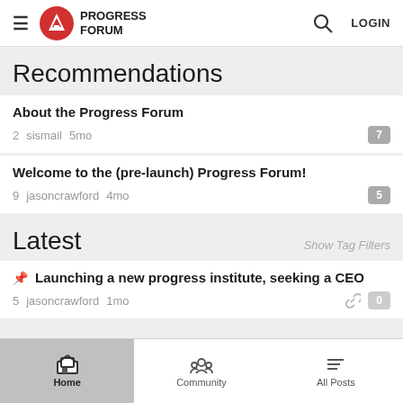Progress Forum — LOGIN
Recommendations
About the Progress Forum
2  sismail  5mo  7
Welcome to the (pre-launch) Progress Forum!
9  jasoncrawford  4mo  5
Latest
Show Tag Filters
Launching a new progress institute, seeking a CEO
5  jasoncrawford  1mo  0
Home  Community  All Posts